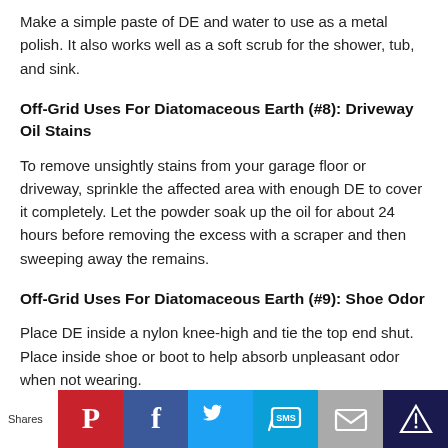Make a simple paste of DE and water to use as a metal polish. It also works well as a soft scrub for the shower, tub, and sink.
Off-Grid Uses For Diatomaceous Earth (#8): Driveway Oil Stains
To remove unsightly stains from your garage floor or driveway, sprinkle the affected area with enough DE to cover it completely. Let the powder soak up the oil for about 24 hours before removing the excess with a scraper and then sweeping away the remains.
Off-Grid Uses For Diatomaceous Earth (#9): Shoe Odor
Place DE inside a nylon knee-high and tie the top end shut. Place inside shoe or boot to help absorb unpleasant odor when not wearing.
Shares [social share buttons: Pinterest, Facebook, Twitter, SMS, Email, More]